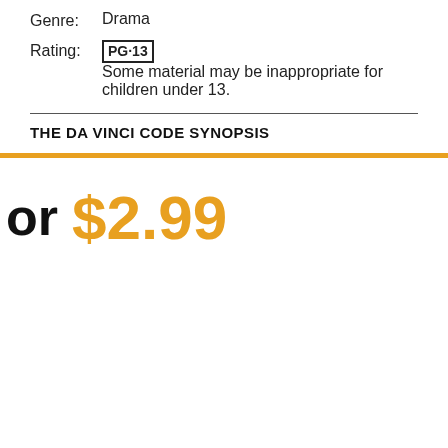Genre:   Drama
Rating:  PG-13  Some material may be inappropriate for children under 13.
THE DA VINCI CODE SYNOPSIS
or $2.99